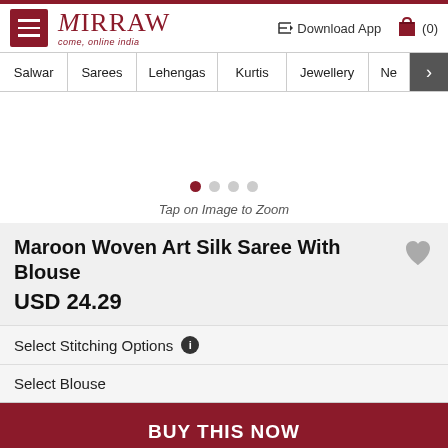[Figure (logo): Mirraw logo with tagline 'come, online india' and hamburger menu icon]
Salwar | Sarees | Lehengas | Kurtis | Jewellery | Ne >
[Figure (screenshot): Product image area with carousel dots showing 4 images]
Tap on Image to Zoom
Maroon Woven Art Silk Saree With Blouse
USD 24.29
Select Stitching Options
Select Blouse
BUY THIS NOW